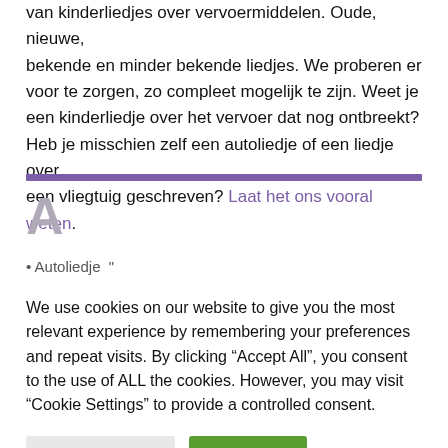van kinderliedjes over vervoermiddelen. Oude, nieuwe, bekende en minder bekende liedjes. We proberen er voor te zorgen, zo compleet mogelijk te zijn. Weet je een kinderliedje over het vervoer dat nog ontbreekt? Heb je misschien zelf een autoliedje of een liedje over een vliegtuig geschreven? Laat het ons vooral weten.
A
We use cookies on our website to give you the most relevant experience by remembering your preferences and repeat visits. By clicking “Accept All”, you consent to the use of ALL the cookies. However, you may visit "Cookie Settings" to provide a controlled consent.